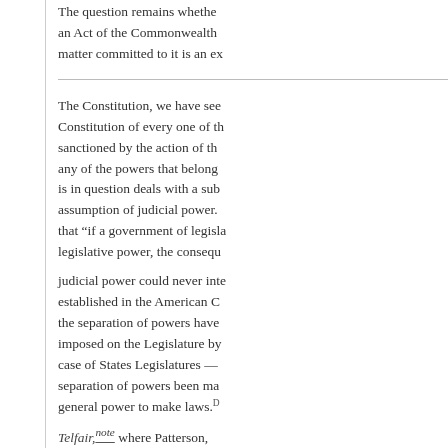The question remains whether an Act of the Commonwealth matter committed to it is an ex...
The Constitution, we have seen, Constitution of every one of th... sanctioned by the action of th... any of the powers that belong... is in question deals with a sub... assumption of judicial power. that "if a government of legisla... legislative power, the consequ...
judicial power could never inte... established in the American C... the separation of powers have... imposed on the Legislature by... case of States Legislatures — separation of powers been ma... general power to make laws.
Telfair, note where Patterson,